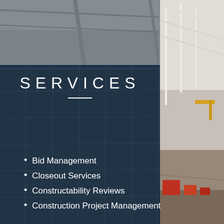[Figure (photo): Industrial building interior with glass ceiling grid panels and structural beams, dark navy overlay on left panel, construction facility on right side]
SERVICES
Bid Management
Closeout Services
Constructability Reviews
Construction Project Management
Contractor Management
Cost Estimation
Database Management
Design Build Project Management